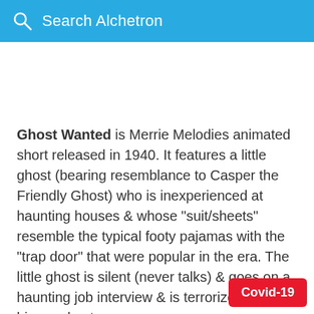Search Alchetron
Ghost Wanted is Merrie Melodies animated short released in 1940. It features a little ghost (bearing resemblance to Casper the Friendly Ghost) who is inexperienced at haunting houses & whose "suit/sheets" resemble the typical footy pajamas with the "trap door" that were popular in the era. The little ghost is silent (never talks) & goes on a haunting job interview & is terrorized by a bigger ghost.
Covid-19